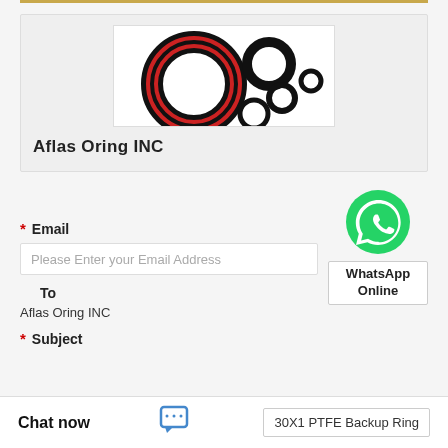[Figure (photo): O-rings and seals product image showing multiple circular rubber rings of different sizes]
Aflas Oring INC
* Email
Please Enter your Email Address
[Figure (logo): WhatsApp green circle icon with phone handset]
WhatsApp Online
To
Aflas Oring INC
* Subject
Chat now
30X1 PTFE Backup Ring